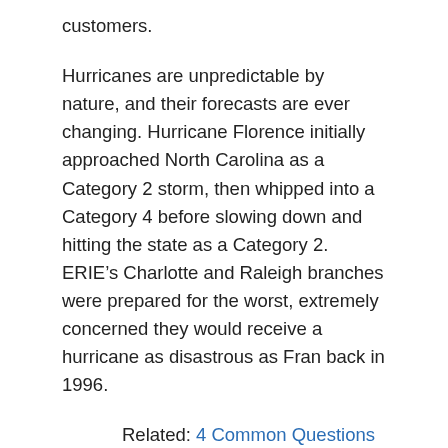customers.
Hurricanes are unpredictable by nature, and their forecasts are ever changing. Hurricane Florence initially approached North Carolina as a Category 2 storm, then whipped into a Category 4 before slowing down and hitting the state as a Category 2. ERIE’s Charlotte and Raleigh branches were prepared for the worst, extremely concerned they would receive a hurricane as disastrous as Fran back in 1996.
Related: 4 Common Questions about Hurricanes and Insurance
Natural disasters like these are what ERIE’s